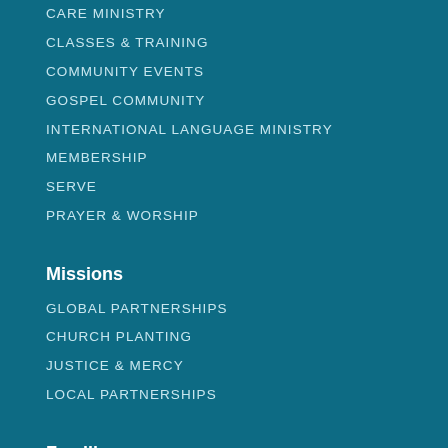CARE MINISTRY
CLASSES & TRAINING
COMMUNITY EVENTS
GOSPEL COMMUNITY
INTERNATIONAL LANGUAGE MINISTRY
MEMBERSHIP
SERVE
PRAYER & WORSHIP
Missions
GLOBAL PARTNERSHIPS
CHURCH PLANTING
JUSTICE & MERCY
LOCAL PARTNERSHIPS
Families
ADOPTION & FOSTER CARE
CHILD & PARENT DEDICATION
CLASSES